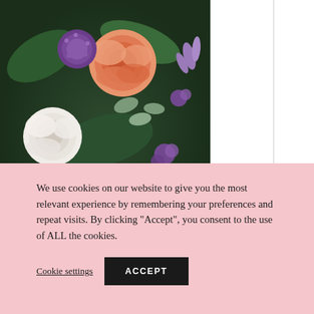[Figure (photo): Close-up photo of a colorful floral arrangement featuring peach roses, white roses, purple flowers, red berries, and green foliage]
ts
We use cookies on our website to give you the most relevant experience by remembering your preferences and repeat visits. By clicking “Accept”, you consent to the use of ALL the cookies.
Cookie settings
ACCEPT